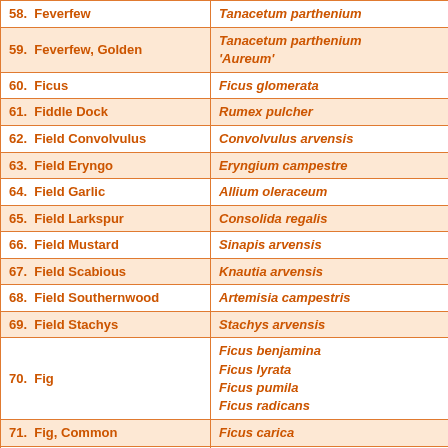| Common Name | Latin Name |
| --- | --- |
| 58. Feverfew | Tanacetum parthenium |
| 59. Feverfew, Golden | Tanacetum parthenium 'Aureum' |
| 60. Ficus | Ficus glomerata |
| 61. Fiddle Dock | Rumex pulcher |
| 62. Field Convolvulus | Convolvulus arvensis |
| 63. Field Eryngo | Eryngium campestre |
| 64. Field Garlic | Allium oleraceum |
| 65. Field Larkspur | Consolida regalis |
| 66. Field Mustard | Sinapis arvensis |
| 67. Field Scabious | Knautia arvensis |
| 68. Field Southernwood | Artemisia campestris |
| 69. Field Stachys | Stachys arvensis |
| 70. Fig | Ficus benjamina / Ficus lyrata / Ficus pumila / Ficus radicans |
| 71. Fig, Common | Ficus carica |
| 72. Fig, Sycamore | Ficus sycamorus |
| 73. Figwort, Balm-leaved | Scrophularia scorodoma |
| 74. Figwort, Knotted | Scrophularia nodosa |
| 75. Figwort, Water | Scrophularia aquatica |
| 76. Figwort, Yellow | Scrophularia vernalis |